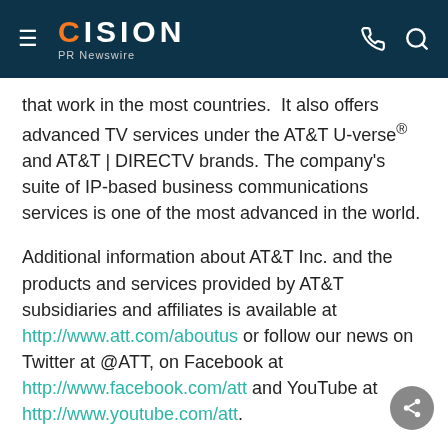CISION PR Newswire
that work in the most countries.  It also offers advanced TV services under the AT&T U-verse® and AT&T | DIRECTV brands. The company's suite of IP-based business communications services is one of the most advanced in the world.
Additional information about AT&T Inc. and the products and services provided by AT&T subsidiaries and affiliates is available at http://www.att.com/aboutus or follow our news on Twitter at @ATT, on Facebook at http://www.facebook.com/att and YouTube at http://www.youtube.com/att.